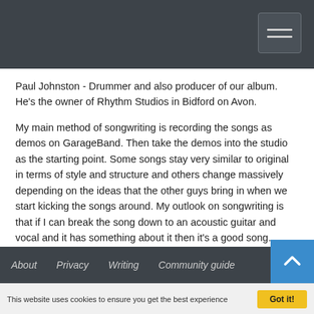Navigation bar with hamburger menu icon
Paul Johnston - Drummer and also producer of our album. He's the owner of Rhythm Studios in Bidford on Avon.
My main method of songwriting is recording the songs as demos on GarageBand. Then take the demos into the studio as the starting point. Some songs stay very similar to original in terms of style and structure and others change massively depending on the ideas that the other guys bring in when we start kicking the songs around. My outlook on songwriting is that if I can break the song down to an acoustic guitar and vocal and it has something about it then it's a good song.
About   Privacy   Writing   Community guide
This website uses cookies to ensure you get the best experience